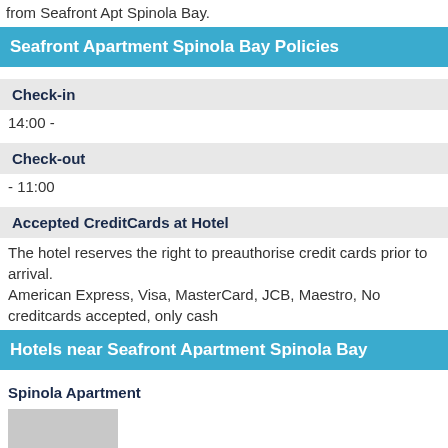from Seafront Apt Spinola Bay.
Seafront Apartment Spinola Bay Policies
Check-in
14:00 -
Check-out
- 11:00
Accepted CreditCards at Hotel
The hotel reserves the right to preauthorise credit cards prior to arrival.
American Express, Visa, MasterCard, JCB, Maestro, No creditcards accepted, only cash
Hotels near Seafront Apartment Spinola Bay
Spinola Apartment
[Figure (photo): Placeholder image for Spinola Apartment hotel photo]